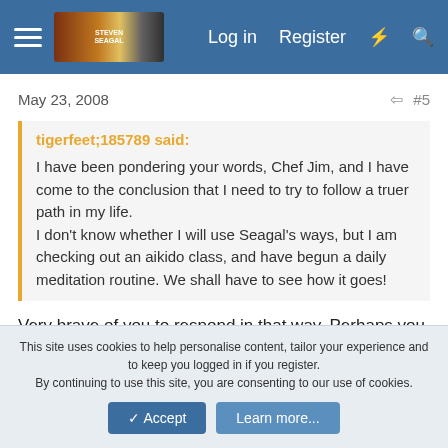Log in  Register
May 23, 2008  #5
tigerfeet;185789 said:
I have been pondering your words, Chef Jim, and I have come to the conclusion that I need to try to follow a truer path in my life.
I don't know whether I will use Seagal's ways, but I am checking out an aikido class, and have begun a daily meditation routine. We shall have to see how it goes!
Very brave of you to respond in that way. Perhaps you don't have to be so hard on yourself. Please have confidence in yourself that you will get to be where you want to be. Then from now on all will go smoothly. I just know in my heart that you will
This site uses cookies to help personalise content, tailor your experience and to keep you logged in if you register.
By continuing to use this site, you are consenting to our use of cookies.